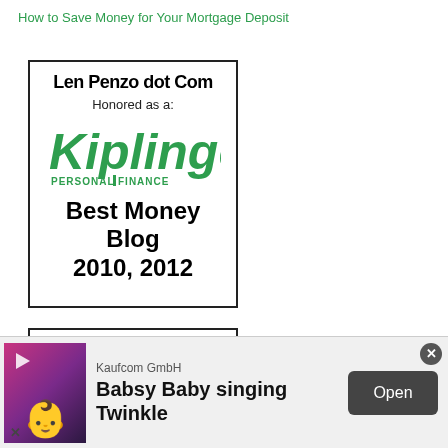How to Save Money for Your Mortgage Deposit
[Figure (illustration): Len Penzo dot Com badge honored as Kiplinger's Personal Finance Best Money Blog 2010, 2012]
[Figure (illustration): Len Penzo dot Com badge: A CBS Money Watch Pick for CBS]
[Figure (illustration): Ad banner: Kaufcom GmbH - Babsy Baby singing Twinkle - Open button]